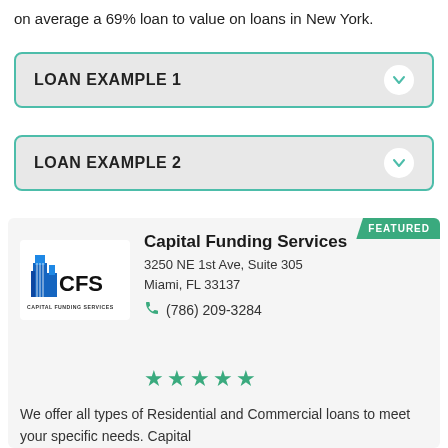on average a 69% loan to value on loans in New York.
LOAN EXAMPLE 1
LOAN EXAMPLE 2
[Figure (infographic): Featured business card for Capital Funding Services with logo, address, phone number, and star rating]
We offer all types of Residential and Commercial loans to meet your specific needs. Capital